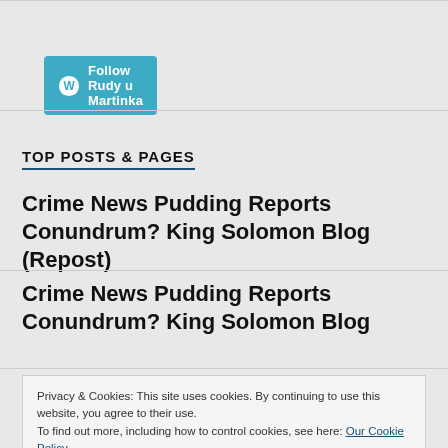[Figure (logo): WordPress follow button with teal background, white WP logo icon and text 'Follow Rudy u Martinka']
TOP POSTS & PAGES
Crime News Pudding Reports Conundrum? King Solomon Blog (Repost)
Crime News Pudding Reports Conundrum? King Solomon Blog
Privacy & Cookies: This site uses cookies. By continuing to use this website, you agree to their use.
To find out more, including how to control cookies, see here: Our Cookie Policy
Close and accept
King Solomon Explains His Views of Death, Final